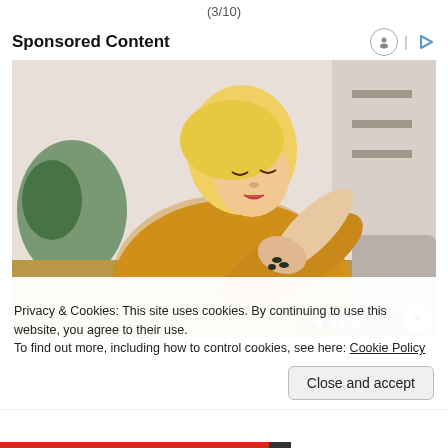(3/10)
Sponsored Content
[Figure (photo): Woman in yellow knit sweater looking at her arm/elbow, seated on a couch, with plants and shelves in background. Media playback controls visible at bottom right of image.]
Privacy & Cookies: This site uses cookies. By continuing to use this website, you agree to their use.
To find out more, including how to control cookies, see here: Cookie Policy
Close and accept